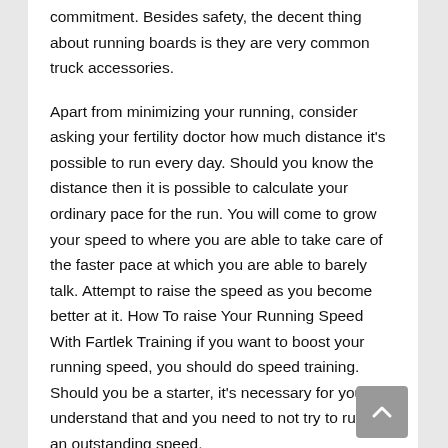commitment. Besides safety, the decent thing about running boards is they are very common truck accessories.
Apart from minimizing your running, consider asking your fertility doctor how much distance it's possible to run every day. Should you know the distance then it is possible to calculate your ordinary pace for the run. You will come to grow your speed to where you are able to take care of the faster pace at which you are able to barely talk. Attempt to raise the speed as you become better at it. How To raise Your Running Speed With Fartlek Training if you want to boost your running speed, you should do speed training. Should you be a starter, it's necessary for you to understand that and you need to not try to run at an outstanding speed.
Whenever you are embarking upon a beginners running